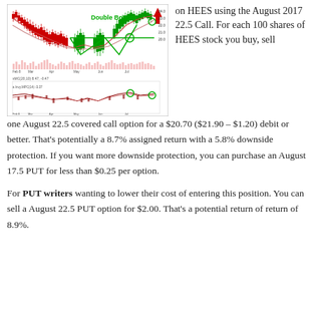[Figure (continuous-plot): Stock chart for HEES showing candlestick price action with volume bars, MACD indicator, and a 'Double Bottom' pattern annotated in green text with green lines connecting the two bottoms. A red upward arrow appears at the top right of the price chart. Circles highlight key points on the chart.]
on HEES using the August 2017 22.5 Call. For each 100 shares of HEES stock you buy, sell
one August 22.5 covered call option for a $20.70 ($21.90 – $1.20) debit or better. That's potentially a 8.7% assigned return with a 5.8% downside protection. If you want more downside protection, you can purchase an August 17.5 PUT for less than $0.25 per option.
For PUT writers wanting to lower their cost of entering this position. You can sell a August 22.5 PUT option for $2.00. That's a potential return of return of 8.9%.